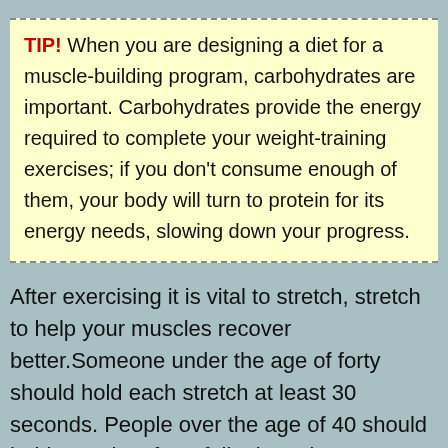TIP! When you are designing a diet for a muscle-building program, carbohydrates are important. Carbohydrates provide the energy required to complete your weight-training exercises; if you don't consume enough of them, your body will turn to protein for its energy needs, slowing down your progress.
After exercising it is vital to stretch, stretch to help your muscles recover better.Someone under the age of forty should hold each stretch at least 30 seconds. People over the age of 40 should hold stretches for a full minute is recommended.This will lessen the chances of your muscles getting injured.